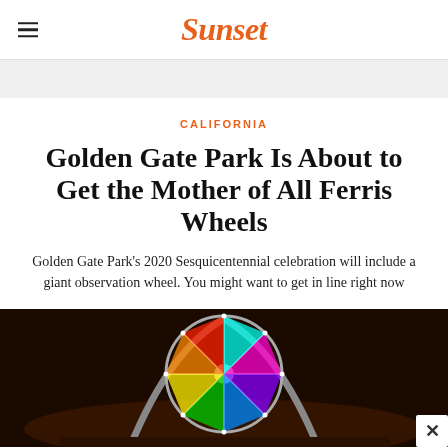Sunset
CALIFORNIA
Golden Gate Park Is About to Get the Mother of All Ferris Wheels
Golden Gate Park’s 2020 Sesquicentennial celebration will include a giant observation wheel. You might want to get in line right now
[Figure (photo): A large illuminated Ferris wheel at night with colorful rainbow LED lights, photographed against a dark sky with city lights in the background.]